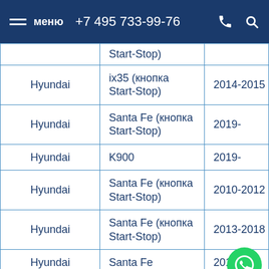меню  +7 495 733-99-76
| Марка | Модель | Год |
| --- | --- | --- |
|  | Start-Stop) |  |
| Hyundai | ix35 (кнопка Start-Stop) | 2014-2015 |
| Hyundai | Santa Fe (кнопка Start-Stop) | 2019- |
| Hyundai | K900 | 2019- |
| Hyundai | Santa Fe (кнопка Start-Stop) | 2010-2012 |
| Hyundai | Santa Fe (кнопка Start-Stop) | 2013-2018 |
| Hyundai | Santa Fe | 2019- |